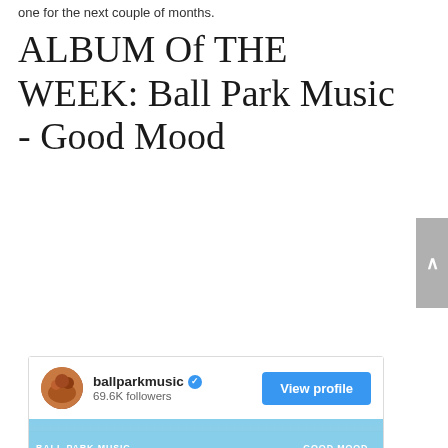one for the next couple of months.
ALBUM Of THE WEEK: Ball Park Music - Good Mood
[Figure (screenshot): Instagram profile card for ballparkmusic showing 69.6K followers with a View profile button, and below it the album cover for 'Good Mood' by Ball Park Music featuring a person riding a rearing horse in front of a white building under a blue sky.]